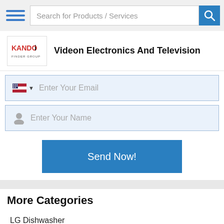Search for Products / Services
Videon Electronics And Television
Enter Your Email
Enter Your Name
Send Now!
More Categories
LG Dishwasher
Visi Cooler - Bluestar, Euronova, Norcool, Voltas
LG Fans